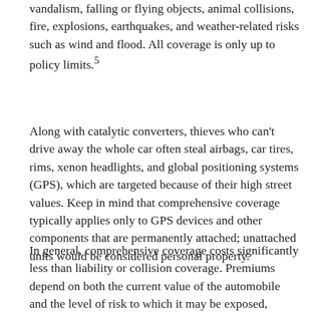vandalism, falling or flying objects, animal collisions, fire, explosions, earthquakes, and weather-related risks such as wind and flood. All coverage is only up to policy limits.5
Along with catalytic converters, thieves who can't drive away the whole car often steal airbags, car tires, rims, xenon headlights, and global positioning systems (GPS), which are targeted because of their high street values. Keep in mind that comprehensive coverage typically applies only to GPS devices and other components that are permanently attached; unattached units would be considered personal property.
In general, comprehensive coverage costs significantly less than liability or collision coverage. Premiums depend on both the current value of the automobile and the level of risk to which it may be exposed, which means you will pay more if you live in an area where claims are prevalent. Insurers will